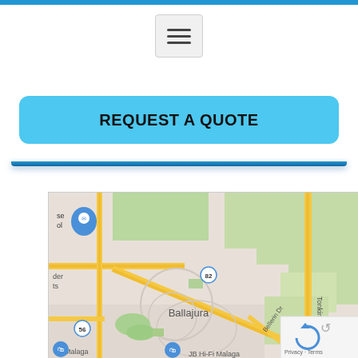[Figure (screenshot): Hamburger menu button icon — three horizontal bars in a grey rounded rectangle]
REQUEST A QUOTE
[Figure (map): Google Maps screenshot showing Ballajura suburb area with roads including Tonkin Hwy, Bellerin Dr, road marker 82, road marker 56, and labels: Ballajura, Malaga, JB Hi-Fi Malaga. Map pin visible top-left. reCAPTCHA badge bottom-right with Privacy · Terms text.]